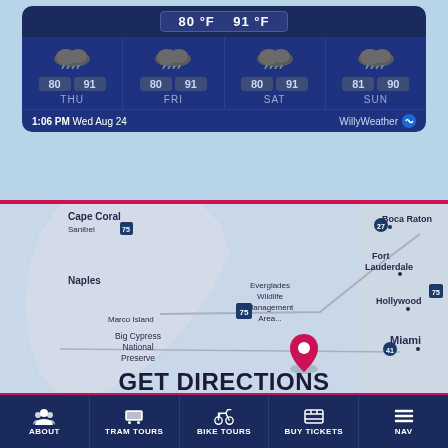[Figure (screenshot): Weather widget showing 4-day forecast for Thu/Fri/Sat/Sun with temperatures 80/91, 80/91, 80/91, 81/90 °F, cloudy icons, timestamp 1:06 PM Wed Aug 24, WillyWeather branding]
[Figure (map): Map of South Florida showing Cape Coral, Sanibel, Naples, Marco Island, Big Cypress National Preserve, Everglades Wildlife Management Area, Boca Raton, Fort Lauderdale, Hollywood, Miami, with a pink location pin and GET DIRECTIONS text overlay]
GET DIRECTIONS
ABOUT
TRAM TOURS
BIKE TOURS
BUY TICKETS
NAV